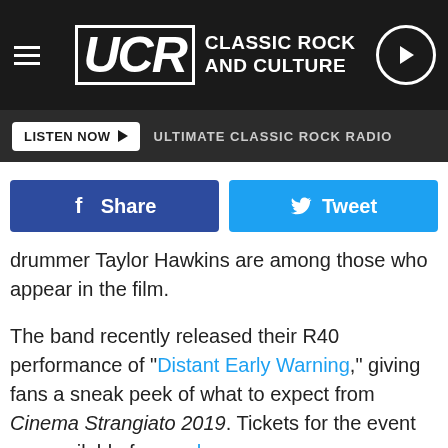UCR CLASSIC ROCK AND CULTURE
LISTEN NOW  ULTIMATE CLASSIC ROCK RADIO
[Figure (other): Facebook Share button and Twitter Tweet button side by side]
drummer Taylor Hawkins are among those who appear in the film.
The band recently released their R40 performance of "Distant Early Warning," giving fans a sneak peek of what to expect from Cinema Strangiato 2019. Tickets for the event are available for purchase now.